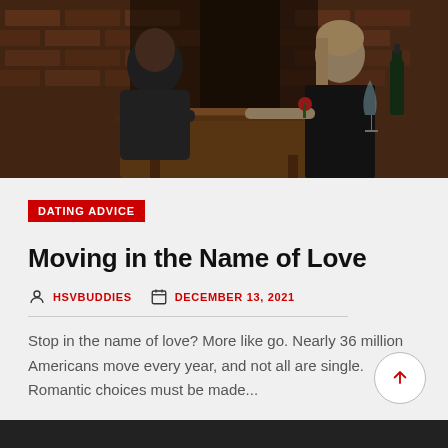[Figure (photo): A couple on a candlelit dinner date at a rustic restaurant with brick walls. A man in a dark sweater sits across from a woman in a black dress at a wooden table. A wine bottle and glass are visible.]
DATING ADVICE
Moving in the Name of Love
HSVBUDDIES   DECEMBER 13, 2021
Stop in the name of love? More like go. Nearly 36 million Americans move every year, and not all are single. Romantic choices must be made...